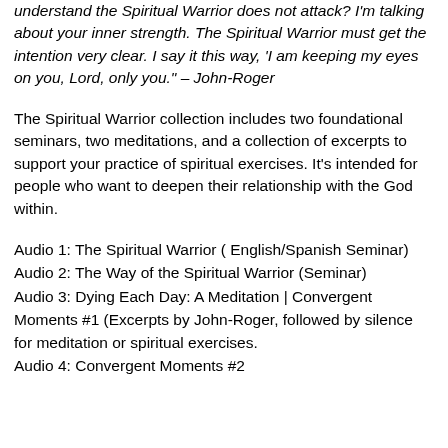understand the Spiritual Warrior does not attack? I'm talking about your inner strength. The Spiritual Warrior must get the intention very clear. I say it this way, 'I am keeping my eyes on you, Lord, only you." – John-Roger
The Spiritual Warrior collection includes two foundational seminars, two meditations, and a collection of excerpts to support your practice of spiritual exercises. It's intended for people who want to deepen their relationship with the God within.
Audio 1: The Spiritual Warrior ( English/Spanish Seminar)
Audio 2: The Way of the Spiritual Warrior (Seminar)
Audio 3: Dying Each Day: A Meditation | Convergent Moments #1 (Excerpts by John-Roger, followed by silence for meditation or spiritual exercises.
Audio 4: Convergent Moments #2